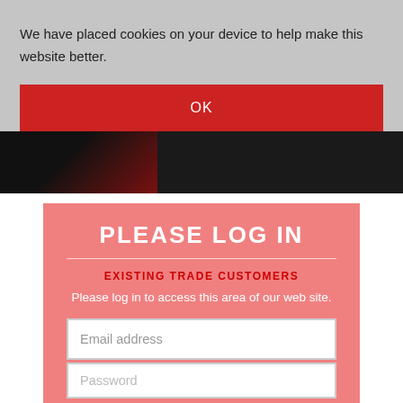We have placed cookies on your device to help make this website better.
OK
[Figure (photo): Dark hero background with shadowy human silhouette figure on left side]
PLEASE LOG IN
EXISTING TRADE CUSTOMERS
Please log in to access this area of our web site.
Email address
Password